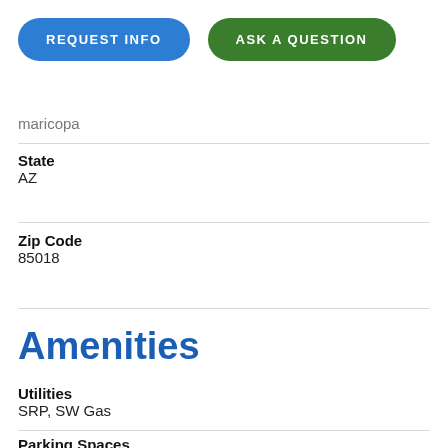[Figure (other): Two call-to-action buttons: REQUEST INFO (blue) and ASK A QUESTION (green)]
Maricopa (partial, cut off)
State
AZ
Zip Code
85018
Amenities
Utilities
SRP, SW Gas
Parking Spaces (partial)